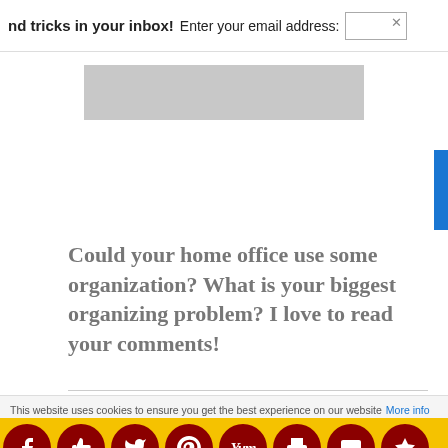nd tricks in your inbox! Enter your email address:
[Figure (photo): Partial image strip, gray rectangle visible at top]
Could your home office use some organization? What is your biggest organizing problem? I love to read your comments!
This website uses cookies to ensure you get the best experience on our website More info
[Figure (infographic): Social media icon buttons row: Facebook, Thumbs up, Twitter, Pinterest, Yummly, Print, Email, Crown — dark red circles on yellow background]